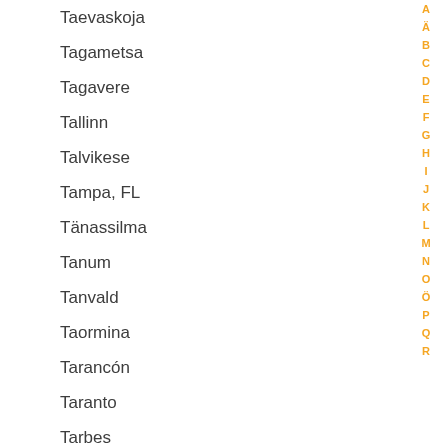Taevaskoja
Tagametsa
Tagavere
Tallinn
Talvikese
Tampa, FL
Tänassilma
Tanum
Tanvald
Taormina
Tarancón
Taranto
Tarbes
Tareste
Târgu Mureș